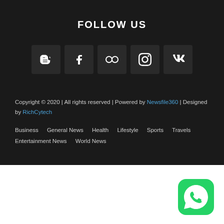FOLLOW US
[Figure (infographic): Row of 5 social media icon buttons: Blogger, Facebook, Flickr, Instagram, VK]
Copyright © 2020 | All rights reserved | Powered by Newsfile360 | Designed by RichCytech
Business
General News
Health
Lifestyle
Sports
Travels
Entertainment News
World News
[Figure (logo): WhatsApp icon button (green rounded square with white phone/chat logo)]